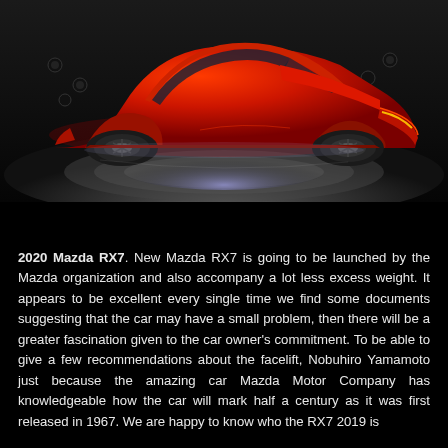[Figure (photo): A red Mazda RX7 concept sports car displayed on a circular platform against a dark background with spotlights]
2020 Mazda RX7. New Mazda RX7 is going to be launched by the Mazda organization and also accompany a lot less excess weight. It appears to be excellent every single time we find some documents suggesting that the car may have a small problem, then there will be a greater fascination given to the car owner's commitment. To be able to give a few recommendations about the facelift, Nobuhiro Yamamoto just because the amazing car Mazda Motor Company has knowledgeable how the car will mark half a century as it was first released in 1967. We are happy to know who the RX7 2019 is